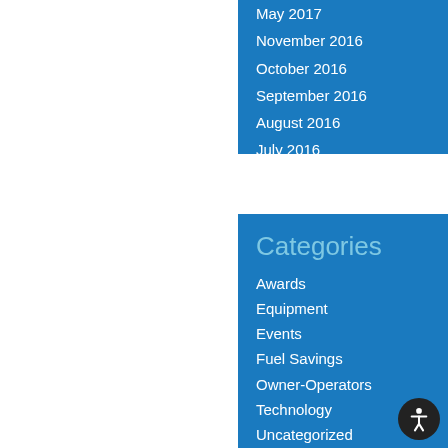May 2017
November 2016
October 2016
September 2016
August 2016
July 2016
Categories
Awards
Equipment
Events
Fuel Savings
Owner-Operators
Technology
Uncategorized